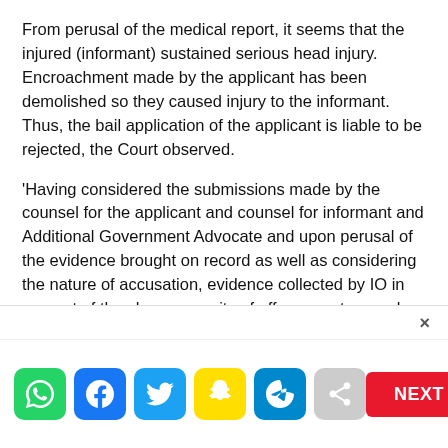From perusal of the medical report, it seems that the injured (informant) sustained serious head injury. Encroachment made by the applicant has been demolished so they caused injury to the informant. Thus, the bail application of the applicant is liable to be rejected, the Court observed.
'Having considered the submissions made by the counsel for the applicant and counsel for informant and Additional Government Advocate and upon perusal of the evidence brought on record as well as considering the nature of accusation, evidence collected by IO in support of the charge, gravity of offence, nature and severity of punishment in case of conviction, complicity…